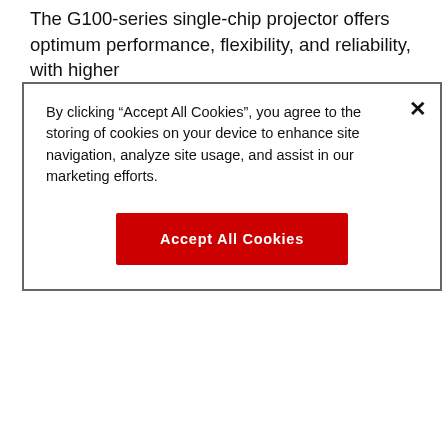The G100-series single-chip projector offers optimum performance, flexibility, and reliability, with higher
By clicking “Accept All Cookies”, you agree to the storing of cookies on your device to enhance site navigation, analyze site usage, and assist in our marketing efforts.
Accept All Cookies
for Thinkwell’s needs. The projector features excellent onboard cooling that can withstand ambient operating temperatures of up to 50°C (122°F). The G100’s laser-phosphor light source and advanced cooling design also provides more than 20,000 hours of operation without a lamp change, which saves considerable maintenance costs.
Barco’s Projector Toolset software makes installing and managing the G100 projector easy with an intuitive user interface. The software’s blending and warping capabilities